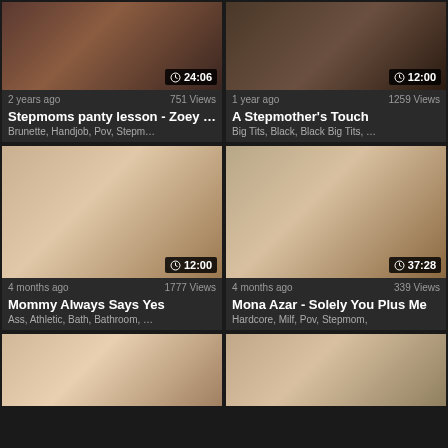[Figure (screenshot): Video thumbnail 1 - top left, duration 24:06]
2 years ago   751 Views
Stepmoms panty lesson - Zoey …
Brunette,  Handjob,  Pov,  Stepm…
[Figure (screenshot): Video thumbnail 2 - top right, duration 12:00]
1 year ago   1259 Views
A Stepmother's Touch
Big Tits,  Black,  Black Big Tits,  …
[Figure (screenshot): Video thumbnail 3 - middle left, duration 12:00]
4 months ago   1777 Views
Mommy Always Says Yes
Ass,  Athletic,  Bath,  Bathroom,  …
[Figure (screenshot): Video thumbnail 4 - middle right, duration 37:28]
4 months ago   339 Views
Mona Azar - Solely You Plus Me
Hardcore,  Milf,  Pov,  Stepmom,
[Figure (screenshot): Video thumbnail 5 - bottom left, partially visible]
[Figure (screenshot): Video thumbnail 6 - bottom right, partially visible]